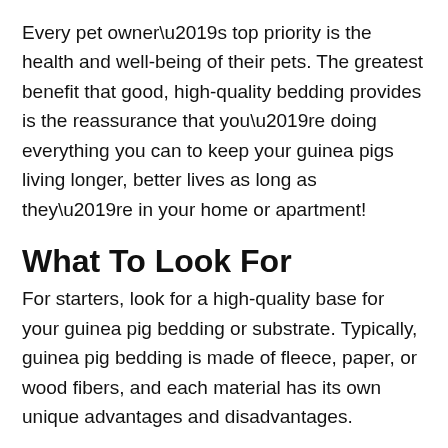Every pet owner’s top priority is the health and well-being of their pets. The greatest benefit that good, high-quality bedding provides is the reassurance that you’re doing everything you can to keep your guinea pigs living longer, better lives as long as they’re in your home or apartment!
What To Look For
For starters, look for a high-quality base for your guinea pig bedding or substrate. Typically, guinea pig bedding is made of fleece, paper, or wood fibers, and each material has its own unique advantages and disadvantages.